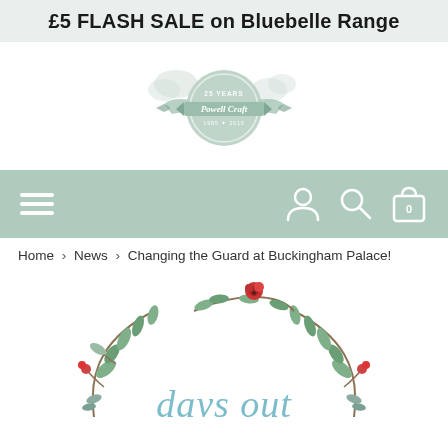£5 FLASH SALE on Bluebelle Range
[Figure (logo): Powell Craft brand logo — circular badge with ribbon banner, text '25 YEARS Powell Craft 1985-2010', muted sage green, watercolor style]
[Figure (screenshot): Navigation bar with hamburger menu icon on left and user account, search, and shopping bag (0 items) icons on right, all white on sage green background]
Home > News > Changing the Guard at Buckingham Palace!
[Figure (illustration): Decorative wreath illustration with green leaves and red berries/flowers forming a semi-circle arch, with cursive teal text 'days out' at the bottom center]